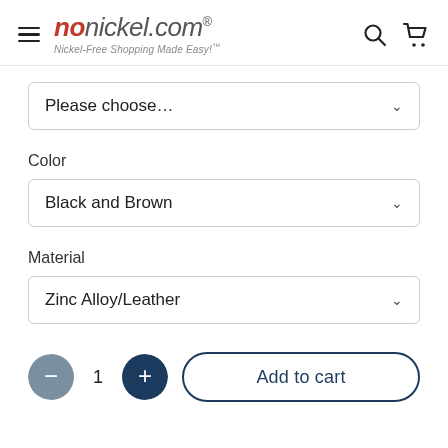nonickel.com® — Nickel-Free Shopping Made Easy!™
Please choose...
Color
Black and Brown
Material
Zinc Alloy/Leather
1  Add to cart